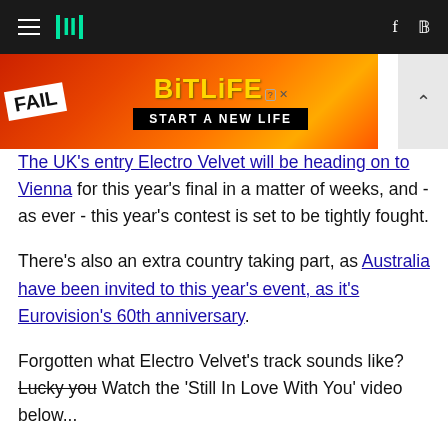HuffPost (hamburger menu, logo, facebook, twitter icons)
[Figure (infographic): BitLife advertisement banner: FAIL badge with cartoon character, flames background, BitLife logo and START A NEW LIFE text]
The UK's entry Electro Velvet will be heading on to Vienna for this year's final in a matter of weeks, and - as ever - this year's contest is set to be tightly fought.
There's also an extra country taking part, as Australia have been invited to this year's event, as it's Eurovision's 60th anniversary.
Forgotten what Electro Velvet's track sounds like? Lucky you Watch the 'Still In Love With You' video below...